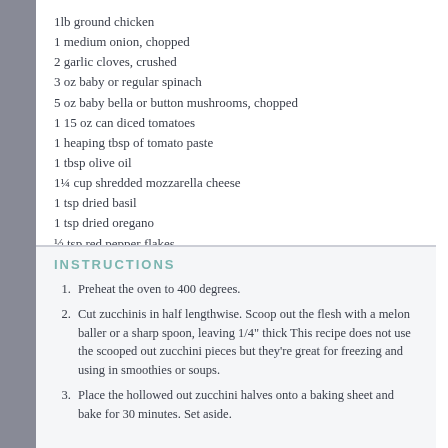1lb ground chicken
1 medium onion, chopped
2 garlic cloves, crushed
3 oz baby or regular spinach
5 oz baby bella or button mushrooms, chopped
1 15 oz can diced tomatoes
1 heaping tbsp of tomato paste
1 tbsp olive oil
1¼ cup shredded mozzarella cheese
1 tsp dried basil
1 tsp dried oregano
½ tsp red pepper flakes
Salt and pepper to taste
INSTRUCTIONS
Preheat the oven to 400 degrees.
Cut zucchinis in half lengthwise. Scoop out the flesh with a melon baller or a sharp spoon, leaving 1/4" thick This recipe does not use the scooped out zucchini pieces but they're great for freezing and using in smoothies or soups.
Place the hollowed out zucchini halves onto a baking sheet and bake for 30 minutes. Set aside.